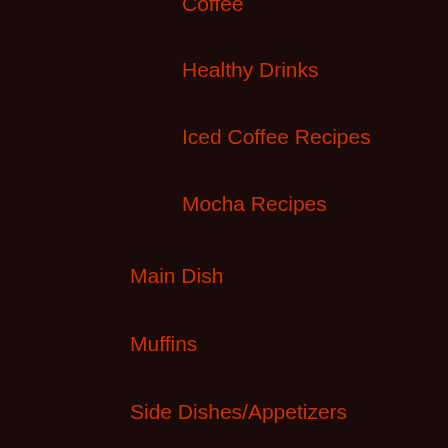Coffee
Healthy Drinks
Iced Coffee Recipes
Mocha Recipes
Main Dish
Muffins
Side Dishes/Appetizers
Reviews
Book Reviews
Food
Product Reviews
The Family
Baby
Children
Vacation Time